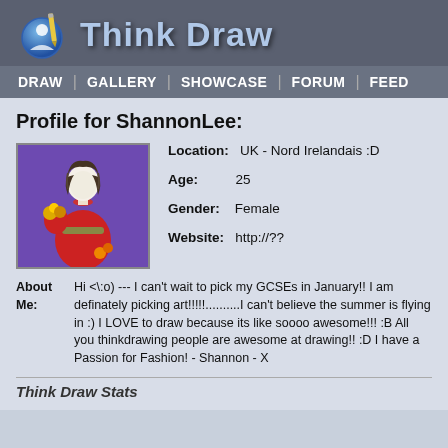[Figure (logo): iThinkDraw logo with pencil icon and stylized text]
DRAW | GALLERY | SHOWCASE | FORUM | FEED
Profile for ShannonLee:
[Figure (illustration): Avatar illustration of a woman in a red dress with flowers on a purple background]
Location: UK - Nord Irelandais :D
Age: 25
Gender: Female
Website: http://??
About Me: Hi <\:o) --- I can't wait to pick my GCSEs in January!! I am definately picking art!!!!!..........I can't believe the summer is flying in :) I LOVE to draw because its like soooo awesome!!! :B All you thinkdrawing people are awesome at drawing!! :D I have a Passion for Fashion! - Shannon - X
Think Draw Stats